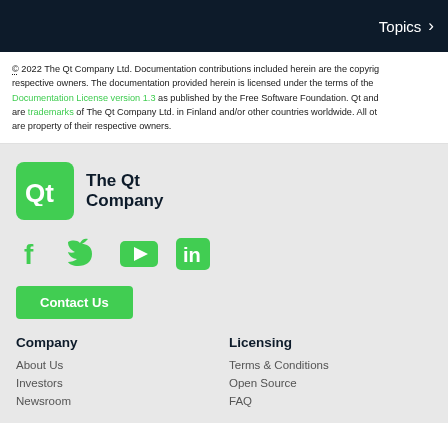Topics >
© 2022 The Qt Company Ltd. Documentation contributions included herein are the copyright of their respective owners. The documentation provided herein is licensed under the terms of the GNU Free Documentation License version 1.3 as published by the Free Software Foundation. Qt and respective logos are trademarks of The Qt Company Ltd. in Finland and/or other countries worldwide. All other trademarks are property of their respective owners.
[Figure (logo): The Qt Company logo - green rounded square with Qt text and company name]
[Figure (infographic): Social media icons: Facebook, Twitter, YouTube, LinkedIn in green]
Contact Us
Company
Licensing
About Us
Terms & Conditions
Investors
Open Source
Newsroom
FAQ